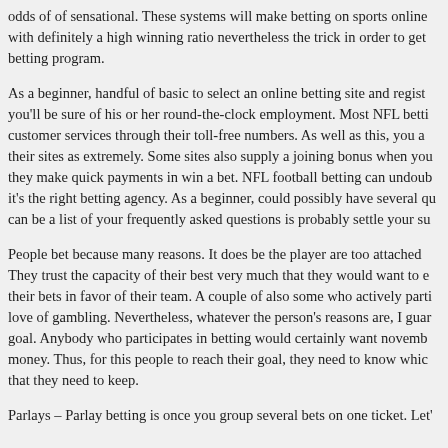odds of of sensational. These systems will make betting on sports online with definitely a high winning ratio nevertheless the trick in order to get betting program.
As a beginner, handful of basic to select an online betting site and regist you'll be sure of his or her round-the-clock employment. Most NFL betti customer services through their toll-free numbers. As well as this, you a their sites as extremely. Some sites also supply a joining bonus when you they make quick payments in win a bet. NFL football betting can undoub it's the right betting agency. As a beginner, could possibly have several qu can be a list of your frequently asked questions is probably settle your su
People bet because many reasons. It does be the player are too attached They trust the capacity of their best very much that they would want to e their bets in favor of their team. A couple of also some who actively parti love of gambling. Nevertheless, whatever the person's reasons are, I guar goal. Anybody who participates in betting would certainly want novemb money. Thus, for this people to reach their goal, they need to know whic that they need to keep.
Parlays – Parlay betting is once you group several bets on one ticket. Let'